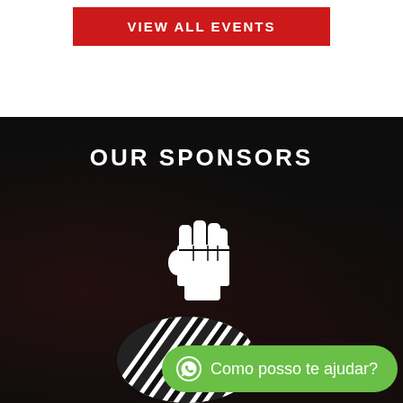[Figure (other): Red button with white bold uppercase text 'VIEW ALL EVENTS' on white background]
OUR SPONSORS
[Figure (illustration): White raised fist icon (solidarity/power fist) on dark/black background]
[Figure (logo): White diagonal stripe pattern logo, partially visible, on dark background]
Como posso te ajudar?